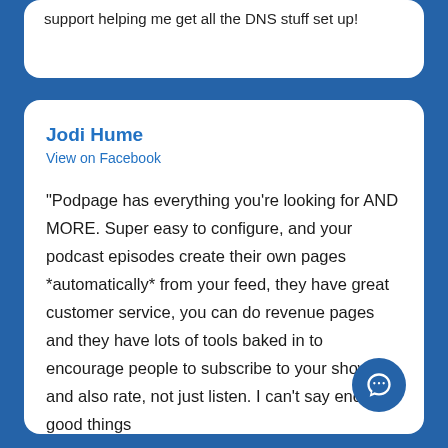support helping me get all the DNS stuff set up!
Jodi Hume
View on Facebook
"Podpage has everything you're looking for AND MORE. Super easy to configure, and your podcast episodes create their own pages *automatically* from your feed, they have great customer service, you can do revenue pages and they have lots of tools baked in to encourage people to subscribe to your show, and also rate, not just listen. I can't say enough good things